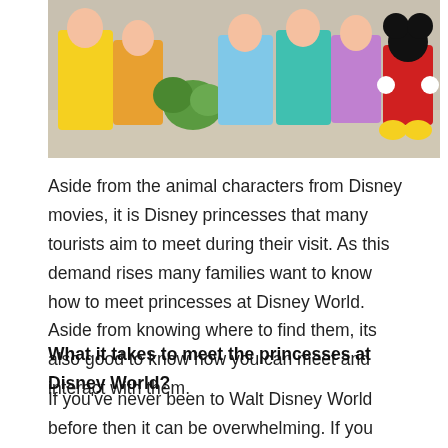[Figure (photo): A group of Disney princesses and characters in colorful costumes including yellow, orange, blue, purple, teal, and red outfits, with Mickey Mouse visible on the right side.]
Aside from the animal characters from Disney movies, it is Disney princesses that many tourists aim to meet during their visit. As this demand rises many families want to know how to meet princesses at Disney World. Aside from knowing where to find them, its also good to know how you can meet and interact with them.
What it takes to meet the princesses at Disney World?
If you've never been to Walt Disney World before then it can be overwhelming. If you have young children meeting the princesses is a must but don't panic, you'll have many chances to see the princesses. The simplest way is via the parade. Magic Kingdom has a parade which features all the